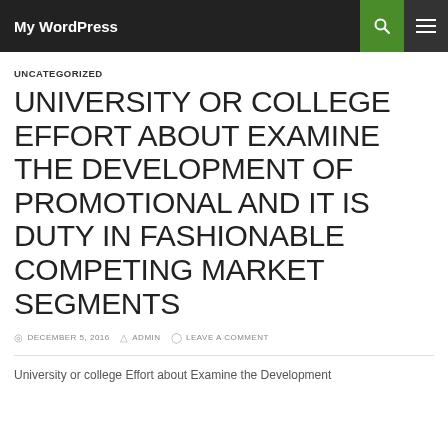My WordPress
UNCATEGORIZED
UNIVERSITY OR COLLEGE EFFORT ABOUT EXAMINE THE DEVELOPMENT OF PROMOTIONAL AND IT IS DUTY IN FASHIONABLE COMPETING MARKET SEGMENTS
DECEMBER 5, 2016  ADMIN  LEAVE A COMMENT
University or college Effort about Examine the Development